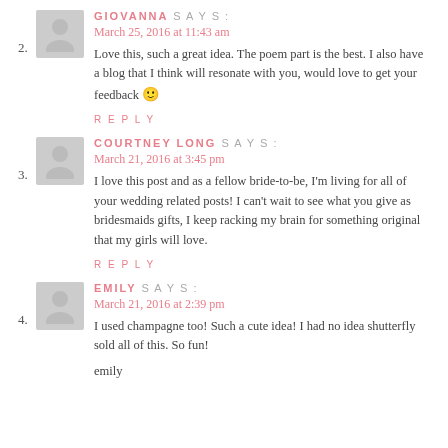2. GIOVANNA SAYS: March 25, 2016 at 11:43 am — Love this, such a great idea. The poem part is the best. I also have a blog that I think will resonate with you, would love to get your feedback 🙂 REPLY
3. COURTNEY LONG SAYS: March 21, 2016 at 3:45 pm — I love this post and as a fellow bride-to-be, I'm living for all of your wedding related posts! I can't wait to see what you give as bridesmaids gifts, I keep racking my brain for something original that my girls will love. REPLY
4. EMILY SAYS: March 21, 2016 at 2:39 pm — I used champagne too! Such a cute idea! I had no idea shutterfly sold all of this. So fun! emily